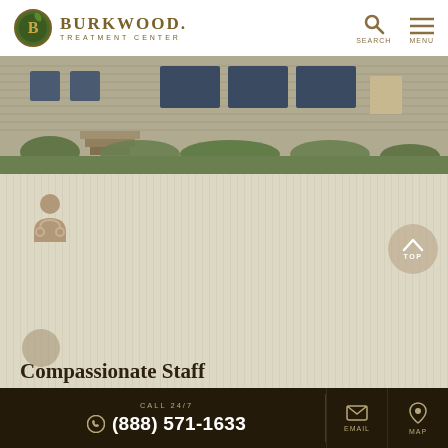[Figure (logo): Burkwood Treatment Center logo — circular green/gold emblem with letter B, beside text 'BURKWOOD. TREATMENT CENTER']
[Figure (photo): Exterior photo of a residential-style treatment center building with siding and landscaping]
[Figure (illustration): Doctor/medical staff icon in muted brown/taupe color]
Compassionate Staff
Our multi-disciplinary, caring staff works directly with our clients to ensure their treatment plan is tailored to their individual needs and treatment goals.
CALL 24/7 (888) 571-1633 | EMAIL | MAP